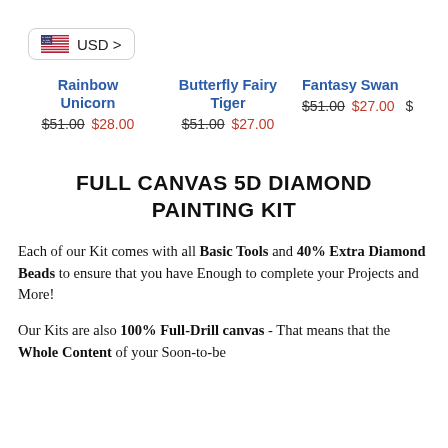[Figure (logo): US flag icon with USD currency selector badge]
Rainbow Unicorn $51.00 $28.00
Butterfly Fairy Tiger $51.00 $27.00
Fantasy Swan $51.00 $27.00
FULL CANVAS 5D DIAMOND PAINTING KIT
Each of our Kit comes with all Basic Tools and 40% Extra Diamond Beads to ensure that you have Enough to complete your Projects and More!
Our Kits are also 100% Full-Drill canvas - That means that the Whole Content of your Soon-to-be